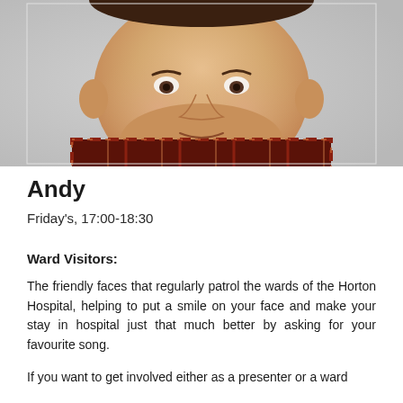[Figure (photo): Close-up photo of a man named Andy wearing a dark plaid/checkered shirt, photographed from shoulders up against a light grey background.]
Andy
Friday's, 17:00-18:30
Ward Visitors:
The friendly faces that regularly patrol the wards of the Horton Hospital, helping to put a smile on your face and make your stay in hospital just that much better by asking for your favourite song.
If you want to get involved either as a presenter or a ward